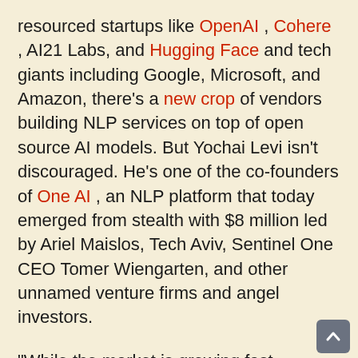resourced startups like OpenAI , Cohere , AI21 Labs, and Hugging Face and tech giants including Google, Microsoft, and Amazon, there's a new crop of vendors building NLP services on top of open source AI models. But Yochai Levi isn't discouraged. He's one of the co-founders of One AI , an NLP platform that today emerged from stealth with $8 million led by Ariel Maislos, Tech Aviv, Sentinel One CEO Tomer Wiengarten, and other unnamed venture firms and angel investors.
"While the market is growing fast, advanced NLP is still used mainly by expert researchers, big tech, and governments," Levi told TechCrunch via email. "We believe that the technology is nearing its maturity